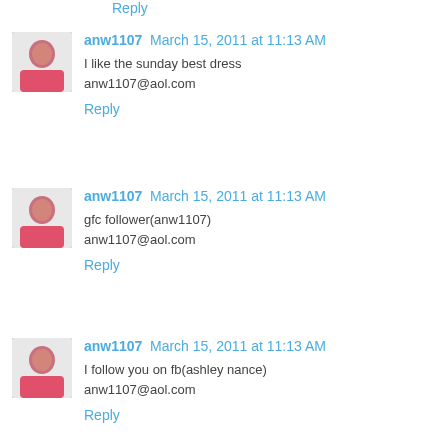Reply
anw1107  March 15, 2011 at 11:13 AM
I like the sunday best dress
anw1107@aol.com
Reply
anw1107  March 15, 2011 at 11:13 AM
gfc follower(anw1107)
anw1107@aol.com
Reply
anw1107  March 15, 2011 at 11:13 AM
I follow you on fb(ashley nance)
anw1107@aol.com
Reply